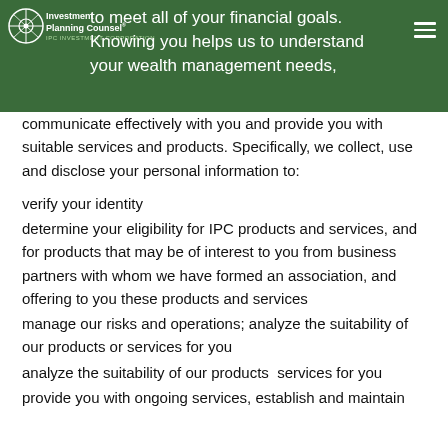to meet all of your financial goals. Knowing you helps us to understand your wealth management needs,
communicate effectively with you and provide you with suitable services and products. Specifically, we collect, use and disclose your personal information to:
verify your identity
determine your eligibility for IPC products and services, and for products that may be of interest to you from business partners with whom we have formed an association, and offering to you these products and services
manage our risks and operations; analyze the suitability of our products or services for you
analyze the suitability of our products  services for you
provide you with ongoing services, establish and maintain